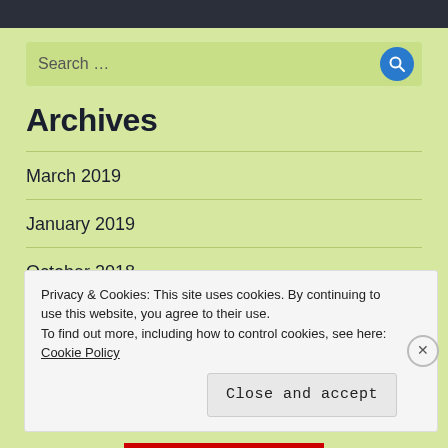[Figure (other): Search bar with magnifying glass icon on green background]
Archives
March 2019
January 2019
October 2018
Privacy & Cookies: This site uses cookies. By continuing to use this website, you agree to their use.
To find out more, including how to control cookies, see here: Cookie Policy
Close and accept